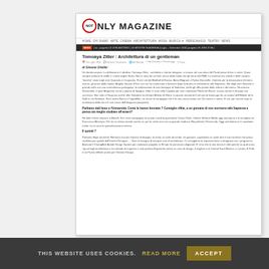NOT ONLY MAGAZINE
HOME  CHI SIAMO  ARTE  CINEMA  ARCHITETTURA  MODA  MUSICA  PERSONAGGI  TEATRO  NEWS
NEWS | ... | LE MOSTRE IN AGENDA (luglio – Settembre 2016) ...
Tomoaya Zitter : Architettura di un gentleman
13 Luglio 2016  |  Nessun Commento  |  Nel Mondo  |  Architettura e Personaggi  |  Torna
di Simone Gheller
Un danda woman. La definizione è riduttiva. Tomoaya Zitter , architetto e interior designer, si muove nel suo attico del Paroli pieno di luci e colori. Quasi sempre indossa le stoffe e i calori anghe Giulio. Non è uova ha un forte senso della moda che gli viene dal DNA. La mamma era stilista e delle sartorie 'banche' state negli anni Quaranta e Cinquanta. Fra le cermik Madhall di Ravisa, Anna Magnani e Faima Ducarello, il talento per la decorazione d'interni, invece, gli arriva dalla madre, Angela, basato d'Yior, con cui ha cominciato a lavorare dopo la laurea in architettura alla Sapienza. Già dagli anni Novanta il grande salto con una committenza prestigiosa, la realizzazione di rami boutique di Valentino, (nello gli uffici privati dello stilista e del amico, Giucariano Gammolito, in piaz Magnani), arriva a piazza di Spagna. Zitter è visto nella Capitale per aver realizzato l'Hotel de Rousil. Lavora anche in Europa con successo. Non solo a Parigi ma anche oltre Giordane ha firmato Moluki de Riera. In questo momento il cler più di lavoro già ha un azione dell'Moluki de la Valle in via Nubiluse. Ed è anche Borso a Capodillon, un resort di campagna che è la una nuova storia con 14 camere e suites. E ora, per sommi capi, la evoluzione della vita e il suo senso dell'eleganza (proposta).
Parliamo dall liceo e l'Università. Come le hanno funciato ? Consiglio rifilar, a un giovane di non iscriversi alla Sapienza e pensa sia meglio studiare all'estero?
Ho fatto il liceo classico a Mancili. Fra i miei compagnia di scuola ricordi la giornalista Cloran Parlic, l'attore Stefanel Marla oggi animuario e la immigliari mi Francesca Marciano. Per lui un ottimo ricordo anche so, per la verità non ero un grande studioso. Ma preferito l'Università. Oggi architettura è è cambiatia molto. Io mi sono la specializzazione interna.
E quindi ?
Parliamo degli strumenti. Ritenevo una più il banco di disegno, la china, la carte da lucido. Un giovane, soprattutto se vuole fare il mio mestiere che prima sarebbe paz qualità dell'Interior Designer … Non ha bisogno di toccque anni di architettura. Ci consiglierei di imparare bene a disegnare con i programmi, Autocad il ChampArel Autodi Design System per realizzare progetto in 3Di per le previsioni artigianali. È' vero che la mia tecnia è utile perché sa qual ossia i giusti tagli architettonico, ho intendo di imparare e miei piontari Esperanto anche un caso di design, il migliore è al Central Saint Martins, a Londra. È Fuld è un Paese difficile anche per l'Interior Design.
THIS WEBSITE USES COOKIES.
READ MORE
ACCEPT